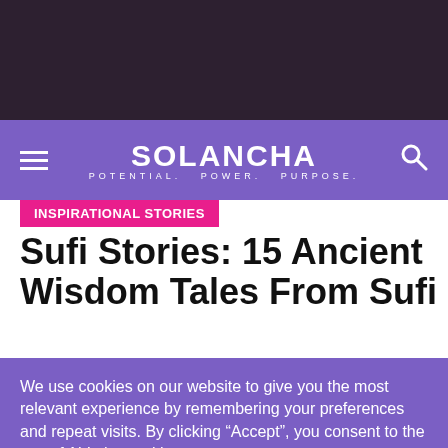SOLANCHA · POTENTIAL. POWER. PURPOSE.
INSPIRATIONAL STORIES
Sufi Stories: 15 Ancient Wisdom Tales From Sufi
We use cookies on our website to give you the most relevant experience by remembering your preferences and repeat visits. By clicking “Accept”, you consent to the use of ALL the cookies. Do not sell my personal information.